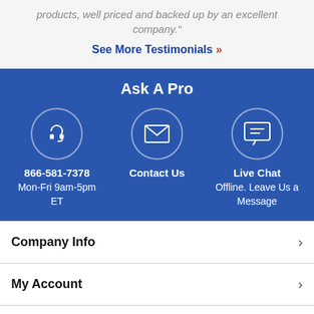products, well priced and backed up by an excellent company."
See More Testimonials »
Ask A Pro
866-581-7378 Mon-Fri 9am-5pm ET
Contact Us
Live Chat Offline. Leave Us a Message
Company Info
My Account
Helpful Resources